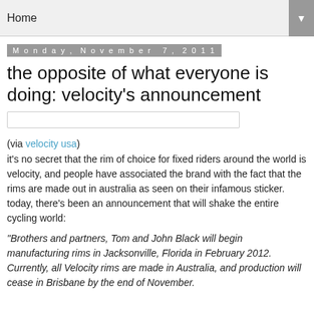Home ▼
Monday, November 7, 2011
the opposite of what everyone is doing: velocity's announcement
[Figure (other): Embedded image placeholder (narrow horizontal bar)]
(via velocity usa) it's no secret that the rim of choice for fixed riders around the world is velocity, and people have associated the brand with the fact that the rims are made out in australia as seen on their infamous sticker. today, there's been an announcement that will shake the entire cycling world:
"Brothers and partners, Tom and John Black will begin manufacturing rims in Jacksonville, Florida in February 2012. Currently, all Velocity rims are made in Australia, and production will cease in Brisbane by the end of November.